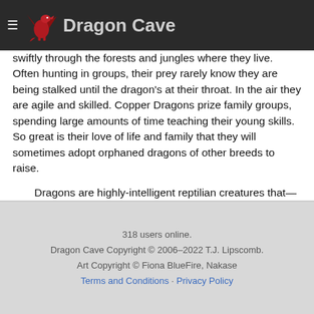Dragon Cave
swiftly through the forests and jungles where they live. Often hunting in groups, their prey rarely know they are being stalked until the dragon's at their throat. In the air they are agile and skilled. Copper Dragons prize family groups, spending large amounts of time teaching their young skills. So great is their love of life and family that they will sometimes adopt orphaned dragons of other breeds to raise.
Dragons are highly-intelligent reptilian creatures that—from a human perspective, at least—appear to live forever. Many different varieties of dragon exist, each with their own unique qualities, habitats, and behavior. Adolescence in dragons is usually marked by the growth of a hatchling's wings, although not all breeds of dragons grow wings and some breeds have other traits that indicate the beginning of maturation. In Galsreim, dragons and humans coexist peacefully.
318 users online.
Dragon Cave Copyright © 2006–2022 T.J. Lipscomb.
Art Copyright © Fiona BlueFire, Nakase
Terms and Conditions · Privacy Policy